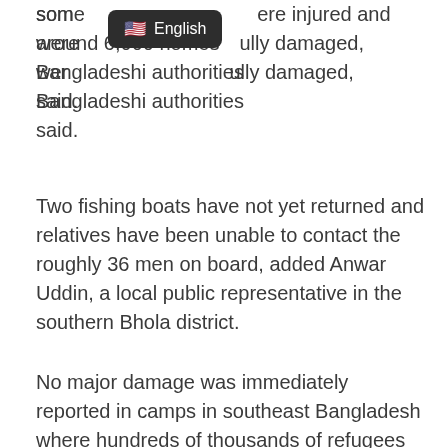Some were injured and around 6,000 homes were fully damaged, Bangladeshi authorities said.
[Figure (other): Language selector tooltip showing US flag emoji and 'English' label on dark background]
Two fishing boats have not yet returned and relatives have been unable to contact the roughly 36 men on board, added Anwar Uddin, a local public representative in the southern Bhola district.
No major damage was immediately reported in camps in southeast Bangladesh where hundreds of thousands of refugees from neighboring Myanmar are living.
In India's state of West Bengal, seven people were killed, Javed Khan, the state's minister for disaster management told reporters on Sunday evening.